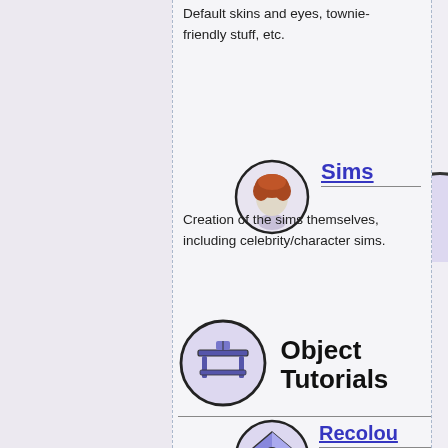Default skins and eyes, townie-friendly stuff, etc.
[Figure (illustration): Small circular icon with a Sim head/hair silhouette - Sims category icon]
Sims
Creation of the sims themselves, including celebrity/character sims.
[Figure (illustration): Large circular icon with a table/furniture symbol - Object Tutorials category icon]
Object Tutorials
[Figure (illustration): Circular icon with a recolour/paint symbol]
Recolou
Recolouring and retexturing objects.